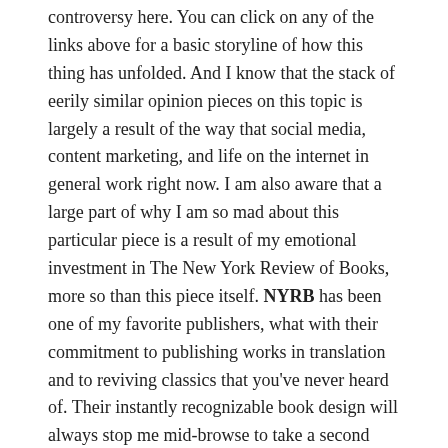controversy here. You can click on any of the links above for a basic storyline of how this thing has unfolded. And I know that the stack of eerily similar opinion pieces on this topic is largely a result of the way that social media, content marketing, and life on the internet in general work right now. I am also aware that a large part of why I am so mad about this particular piece is a result of my emotional investment in The New York Review of Books, more so than this piece itself. NYRB has been one of my favorite publishers, what with their commitment to publishing works in translation and to reviving classics that you've never heard of. Their instantly recognizable book design will always stop me mid-browse to take a second look — and I've yet to be disappointed by a book that I've bought almost entirely because they are the ones who published it. As you can imagine, there are a very small number of publishers I can claim that about.
So clearly, I expected more. But I still haven't gotten to why I'm so disappointed in the first place!